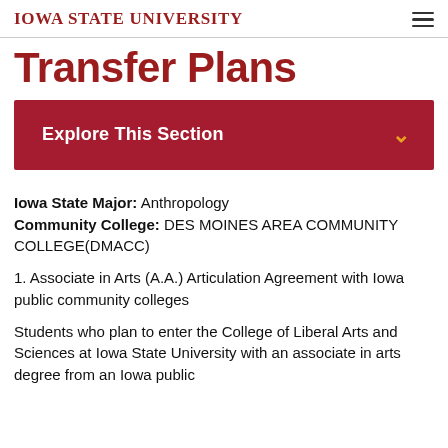IOWA STATE UNIVERSITY
Transfer Plans
Explore This Section
Iowa State Major: Anthropology
Community College: DES MOINES AREA COMMUNITY COLLEGE(DMACC)
1. Associate in Arts (A.A.) Articulation Agreement with Iowa public community colleges
Students who plan to enter the College of Liberal Arts and Sciences at Iowa State University with an associate in arts degree from an Iowa public